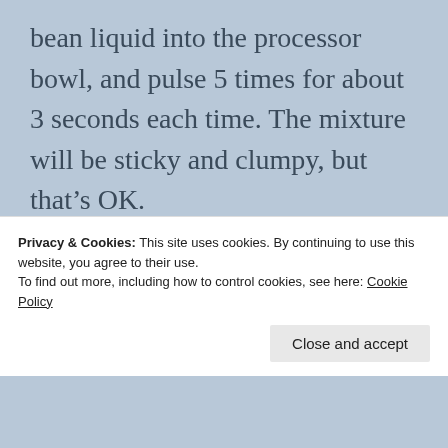bean liquid into the processor bowl, and pulse 5 times for about 3 seconds each time. The mixture will be sticky and clumpy, but that’s OK.
Add another tablespoon of liquid and pulse 5 times again. Use a rubber spatula to scrape the mixture down into the processor
Privacy & Cookies: This site uses cookies. By continuing to use this website, you agree to their use.
To find out more, including how to control cookies, see here: Cookie Policy
Close and accept
(partial bottom text)